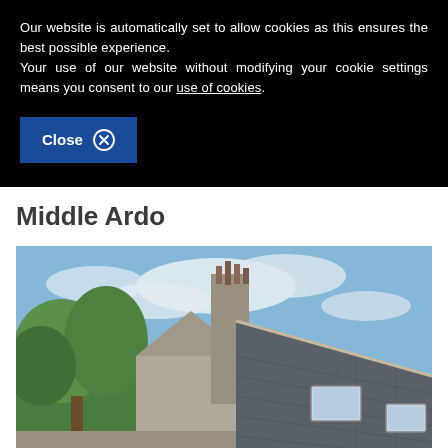Our website is automatically set to allow cookies as this ensures the best possible experience. Your use of our website without modifying your cookie settings means you consent to our use of cookies.
Close
Middle Ardo
[Figure (photo): Photo of a traditional stone building roofline with a tall chimney stack, Velux skylights on a slate roof, green trees in the background left, and a blue sky with white clouds.]